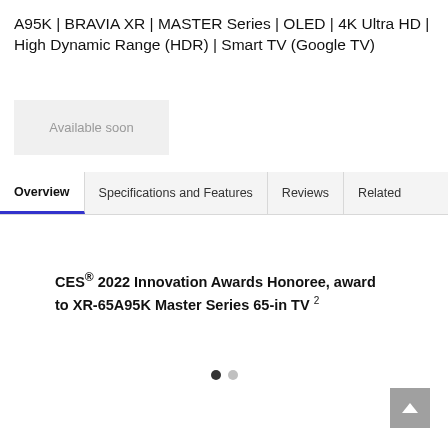A95K | BRAVIA XR | MASTER Series | OLED | 4K Ultra HD | High Dynamic Range (HDR) | Smart TV (Google TV)
Available soon
Overview | Specifications and Features | Reviews | Related
CES® 2022 Innovation Awards Honoree, award to XR-65A95K Master Series 65-in TV 2
[Figure (other): Carousel dot indicators: one filled dark dot and one light grey dot]